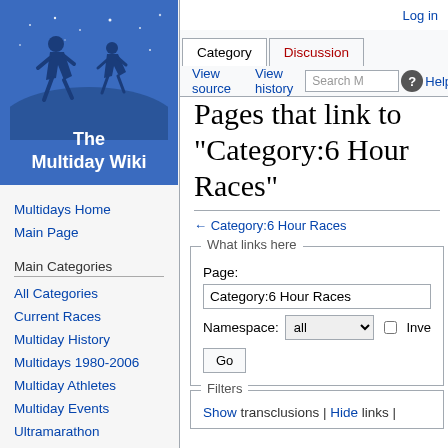[Figure (logo): The Multiday Wiki logo with two runner silhouettes on a blue starry background]
The Multiday Wiki
Multidays Home
Main Page
Main Categories
All Categories
Current Races
Multiday History
Multidays 1980-2006
Multiday Athletes
Multiday Events
Ultramarathon
Marathon
Multisport
Links
Log in
Pages that link to "Category:6 Hour Races"
← Category:6 Hour Races
What links here
Page: Category:6 Hour Races
Namespace: all   □ Inve
Go
Filters
Show transclusions | Hide links |